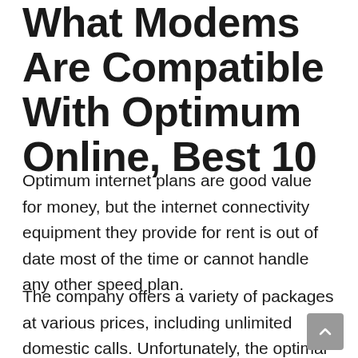What Modems Are Compatible With Optimum Online, Best 10
Optimum internet plans are good value for money, but the internet connectivity equipment they provide for rent is out of date most of the time or cannot handle any other speed plan.
The company offers a variety of packages at various prices, including unlimited domestic calls. Unfortunately, the optimal lease charges $ 4.95 to